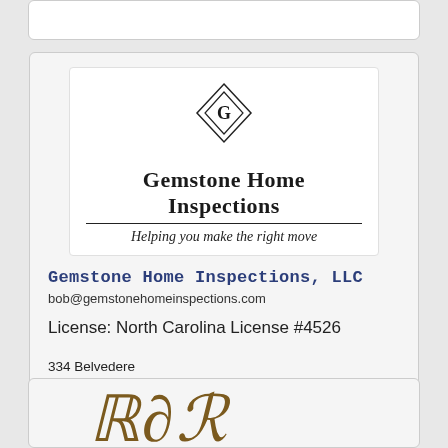[Figure (logo): Gemstone Home Inspections logo with diamond G symbol, company name, and tagline 'Helping you make the right move']
Gemstone Home Inspections, LLC
bob@gemstonehomeinspections.com
License: North Carolina License #4526
334 Belvedere
P: 910-284-3600
[Figure (illustration): Partial cursive/script signature or decorative text in brown/gold color, partially visible at bottom of page]